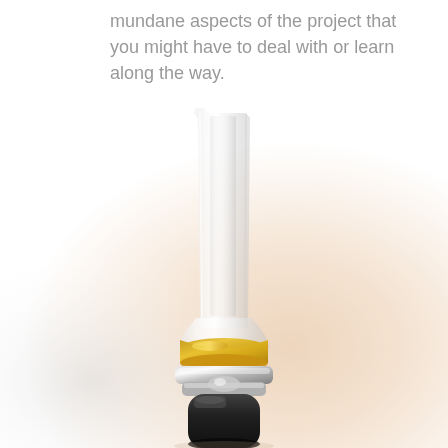mundane aspects of the project that you might have to deal with or learn along the way.
[Figure (photo): Close-up photograph of a cannabis oil vape cartridge tip showing a clear glass tube with golden/amber oil at the bottom, sitting on a black metal base, with a soft blurred warm background.]